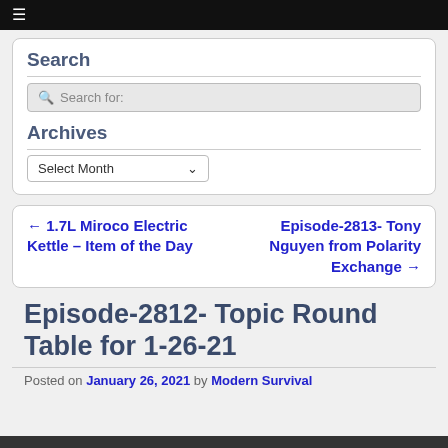≡
Search
Search for:
Archives
Select Month
← 1.7L Miroco Electric Kettle – Item of the Day
Episode-2813- Tony Nguyen from Polarity Exchange →
Episode-2812- Topic Round Table for 1-26-21
Posted on January 26, 2021 by Modern Survival